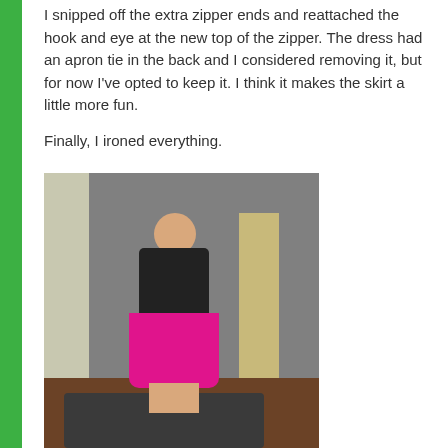I snipped off the extra zipper ends and reattached the hook and eye at the new top of the zipper. The dress had an apron tie in the back and I considered removing it, but for now I've opted to keep it. I think it makes the skirt a little more fun.
Finally, I ironed everything.
[Figure (photo): A woman standing and smiling, wearing a black top and a bright pink skirt with a black hem band and gray waistband, barefoot, in a room with gray walls, wood floors, a patterned rug, and a lamp in the background.]